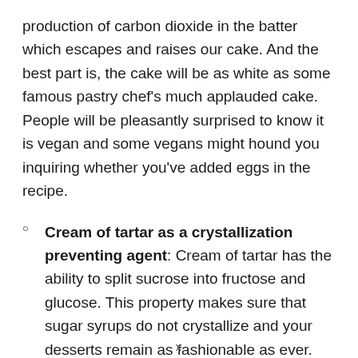production of carbon dioxide in the batter which escapes and raises our cake. And the best part is, the cake will be as white as some famous pastry chef's much applauded cake. People will be pleasantly surprised to know it is vegan and some vegans might hound you inquiring whether you've added eggs in the recipe.
Cream of tartar as a crystallization preventing agent: Cream of tartar has the ability to split sucrose into fructose and glucose. This property makes sure that sugar syrups do not crystallize and your desserts remain as fashionable as ever.
x